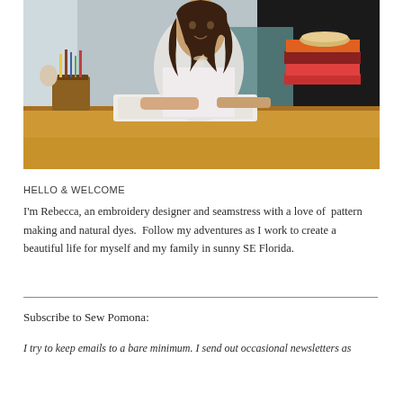[Figure (photo): Woman with long dark hair wearing a white t-shirt seated at a wooden desk, working on fabric/embroidery. Desk has pencil holder with art supplies on left, stack of books on right, with a teal/dark background.]
HELLO & WELCOME
I'm Rebecca, an embroidery designer and seamstress with a love of  pattern making and natural dyes.  Follow my adventures as I work to create a beautiful life for myself and my family in sunny SE Florida.
Subscribe to Sew Pomona:
I try to keep emails to a bare minimum. I send out occasional newsletters as